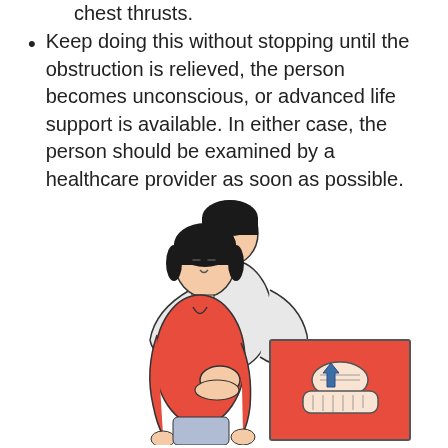Keep doing this without stopping until the obstruction is relieved, the person becomes unconscious, or advanced life support is available. In either case, the person should be examined by a healthcare provider as soon as possible.
[Figure (illustration): Medical illustration showing the Heimlich maneuver being performed on a standing choking victim. A person (rescuer) stands behind a woman (victim) in a red shirt, with arms wrapped around her abdomen. An inset diagram shows a close-up of the hand position — one fist covered by the other hand pressing into the abdomen with an upward arrow indicating the thrust direction.]